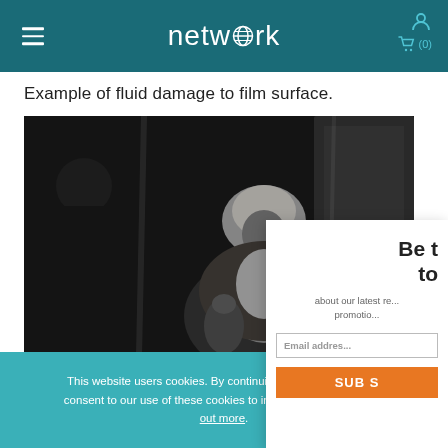network
Example of fluid damage to film surface.
[Figure (photo): Black and white film still showing two figures, one in period costume with a bonnet and shawl.]
Be the first to know about our latest releases and promotions
Email address
SUBS
This website users cookies. By continuing to use this website you consent to our use of these cookies to improve your user exp... out more.